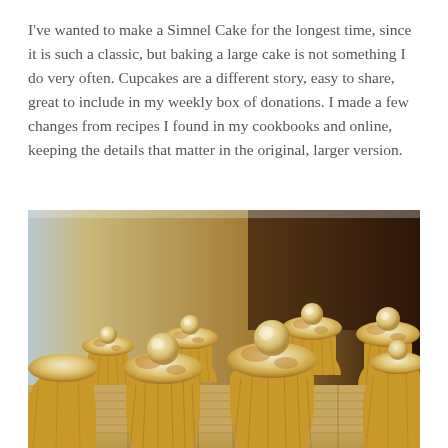I've wanted to make a Simnel Cake for the longest time, since it is such a classic, but baking a large cake is not something I do very often. Cupcakes are a different story, easy to share, great to include in my weekly box of donations. I made a few changes from recipes I found in my cookbooks and online, keeping the details that matter in the original, larger version.
[Figure (photo): A photograph of six Simnel cupcakes with toasted marzipan/almond paste topping and a marzipan ball on each, arranged on a wicker basket surface. The cupcakes are in yellow paper cases.]